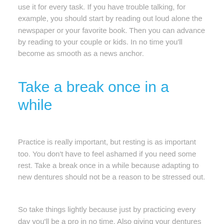use it for every task. If you have trouble talking, for example, you should start by reading out loud alone the newspaper or your favorite book. Then you can advance by reading to your couple or kids. In no time you'll become as smooth as a news anchor.
Take a break once in a while
Practice is really important, but resting is as important too. You don't have to feel ashamed if you need some rest. Take a break once in a while because adapting to new dentures should not be a reason to be stressed out.
So take things lightly because just by practicing every day you'll be a pro in no time. Also giving your dentures